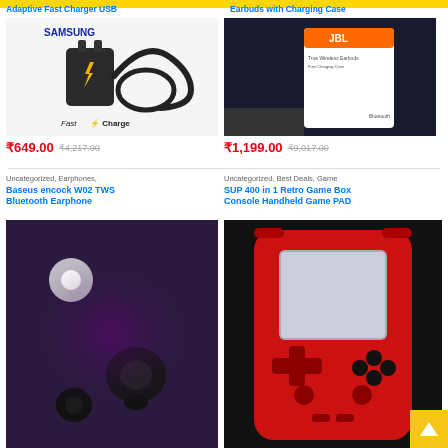Adaptive Fast Charger USB
[Figure (photo): Samsung Adaptive Fast Charger USB plug and cable on white background with Fast Charge logo]
₹649.00  ₹4,217.00
Earbuds with Charging Case
[Figure (photo): JBL earbuds with charging case product packaging photo]
₹1,199.00  ₹9,017.00
Uncategorized, Earphones,
Baseus encock W02 TWS Bluetooth Earphone
[Figure (photo): Baseus encock W02 TWS Bluetooth earphone on dark purple background]
Uncategorized, Best Deals, Game
SUP 400 in 1 Retro Game Box Console Handheld Game PAD
[Figure (photo): Red SUP 400 in 1 Retro Game Box Console Handheld Game PAD]